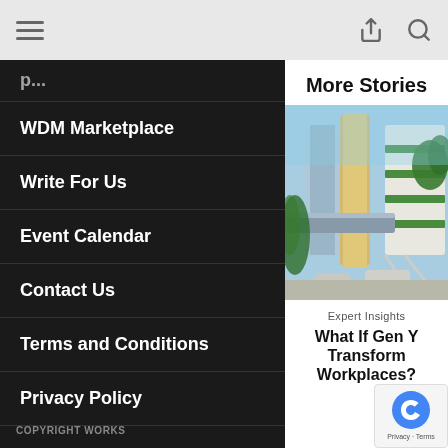Navigation bar with hamburger menu, share icon, search icon
WDM Marketplace
Write For Us
Event Calendar
Contact Us
Terms and Conditions
Privacy Policy
COPYRIGHT WORKS
More Stories
[Figure (photo): Futuristic green building with vegetation on balconies, monorail, and modern architecture in an urban setting]
Expert Insights
What If Gen Y Transform Workplaces?